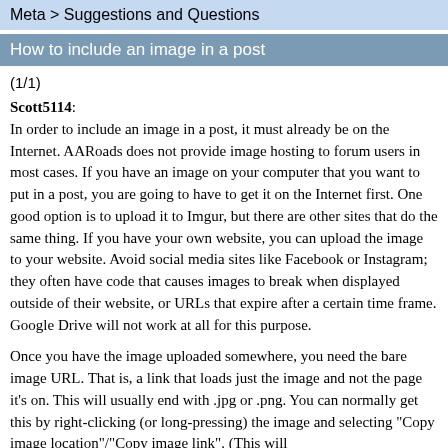Meta > Suggestions and Questions
How to include an image in a post
(1/1)
Scott5114:
In order to include an image in a post, it must already be on the Internet. AARoads does not provide image hosting to forum users in most cases. If you have an image on your computer that you want to put in a post, you are going to have to get it on the Internet first. One good option is to upload it to Imgur, but there are other sites that do the same thing. If you have your own website, you can upload the image to your website. Avoid social media sites like Facebook or Instagram; they often have code that causes images to break when displayed outside of their website, or URLs that expire after a certain time frame. Google Drive will not work at all for this purpose.
Once you have the image uploaded somewhere, you need the bare image URL. That is, a link that loads just the image and not the page it's on. This will usually end with .jpg or .png. You can normally get this by right-clicking (or long-pressing) the image and selecting "Copy image location"/"Copy image link". (This will only work it loads the image by itself, not as part of a